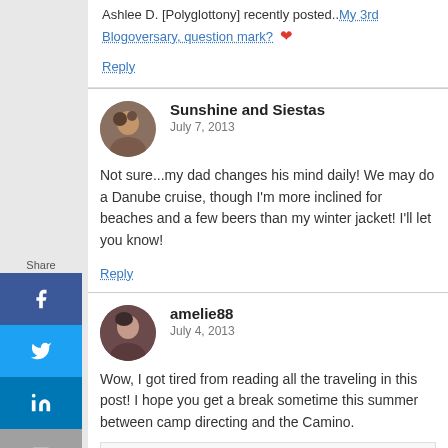Ashlee D. [Polyglottony] recently posted..My 3rd Blogoversary, question mark? ♥
Reply
Sunshine and Siestas
July 7, 2013
Not sure...my dad changes his mind daily! We may do a Danube cruise, though I'm more inclined for beaches and a few beers than my winter jacket! I'll let you know!
Reply
amelie88
July 4, 2013
Wow, I got tired from reading all the traveling in this post! I hope you get a break sometime this summer between camp directing and the Camino.
amelie88 recently posted..Welcome to Quintessential New England: Newburyport ♥